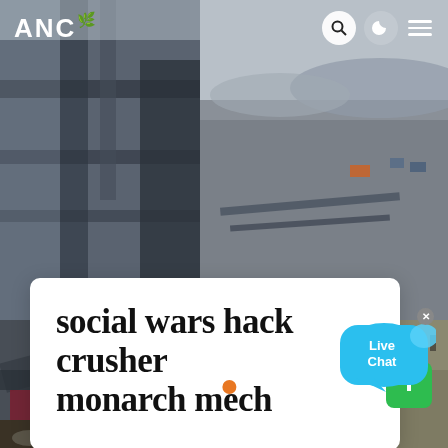[Figure (photo): Industrial/construction site split into 4 quadrants: top-left shows close-up steel structural beams, top-right shows aerial view of open-pit mining or industrial landscape with hazy sky, bottom-left shows close-up of industrial machinery with red/maroon elements and rocks, bottom-right shows dry barren ground with utility poles]
ANC
social wars hack crusher monarch mech
Live Chat